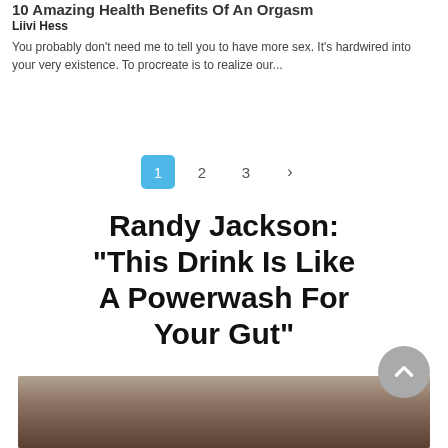10 Amazing Health Benefits Of An Orgasm
Liivi Hess
You probably don't need me to tell you to have more sex. It's hardwired into your very existence. To procreate is to realize our...
1  2  3  >
Randy Jackson: "This Drink Is Like A Powerwash For Your Gut"
[Figure (photo): Photo of Randy Jackson, a man wearing glasses]